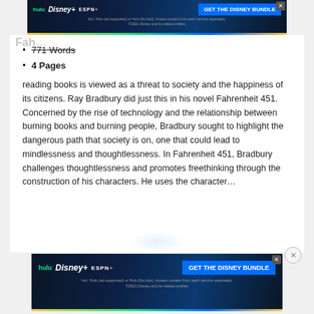[Figure (screenshot): Hulu Disney+ ESPN+ advertisement banner at top: 'GET THE DISNEY BUNDLE' with fine print about Hulu ad-supported and No Ads options, 2021 Disney.]
771 Words
4 Pages
reading books is viewed as a threat to society and the happiness of its citizens. Ray Bradbury did just this in his novel Fahrenheit 451. Concerned by the rise of technology and the relationship between burning books and burning people, Bradbury sought to highlight the dangerous path that society is on, one that could lead to mindlessness and thoughtlessness. In Fahrenheit 451, Bradbury challenges thoughtlessness and promotes freethinking through the construction of his characters. He uses the character…
[Figure (screenshot): Hulu Disney+ ESPN+ advertisement banner at bottom: 'GET THE DISNEY BUNDLE' with fine print about Hulu ad-supported and No Ads options, 2021 Disney.]